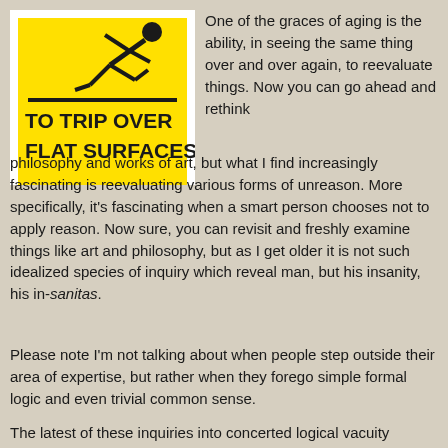[Figure (illustration): Yellow warning sign with black stick figure person tripping/falling, a horizontal black line beneath, and bold black text reading 'TO TRIP OVER FLAT SURFACES' on yellow background with white border]
One of the graces of aging is the ability, in seeing the same thing over and over again, to reevaluate things. Now you can go ahead and rethink philosophy and works of art, but what I find increasingly fascinating is reevaluating various forms of unreason. More specifically, it's fascinating when a smart person chooses not to apply reason. Now sure, you can revisit and freshly examine things like art and philosophy, but as I get older it is not such idealized species of inquiry which reveal man, but his insanity, his in-sanitas.
Please note I'm not talking about when people step outside their area of expertise, but rather when they forego simple formal logic and even trivial common sense.
The latest of these inquiries into concerted logical vacuity